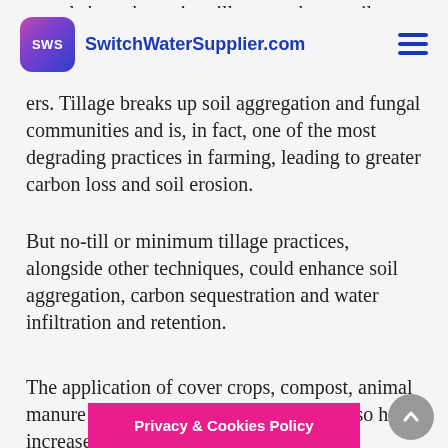SWS SwitchWaterSupplier.com
reveals how damaging tillage can be to soil, as the use of agricultural chemicals, carbon [obscured by header] ers. Tillage breaks up soil aggregation and fungal communities and is, in fact, one of the most degrading practices in farming, leading to greater carbon loss and soil erosion.
But no-till or minimum tillage practices, alongside other techniques, could enhance soil aggregation, carbon sequestration and water infiltration and retention.
The application of cover crops, compost, animal manure a[nd other organic matter c]ould also help increase soil fertili[ty and soil microbiome syst]ems. These work